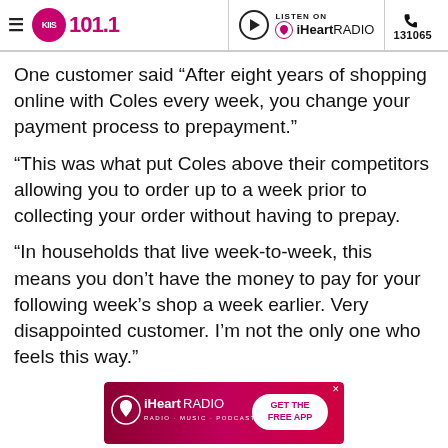KIIS 101.1 | LISTEN ON iHeartRADIO | 131065
One customer said “After eight years of shopping online with Coles every week, you change your payment process to prepayment.”
“This was what put Coles above their competitors allowing you to order up to a week prior to collecting your order without having to prepay.
“In households that live week-to-week, this means you don’t have the money to pay for your following week’s shop a week earlier. Very disappointed customer. I’m not the only one who feels this way.”
[Figure (screenshot): iHeartRADIO advertisement banner with 'GET THE FREE APP' button on red/pink gradient background]